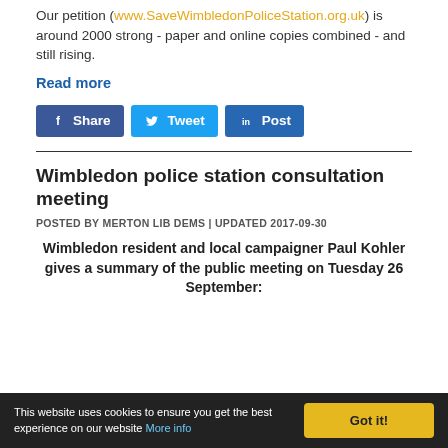Our petition (www.SaveWimbledonPoliceStation.org.uk) is around 2000 strong - paper and online copies combined - and still rising.
Read more
[Figure (other): Social sharing buttons: Facebook Share, Twitter Tweet, LinkedIn Post]
Wimbledon police station consultation meeting
POSTED BY MERTON LIB DEMS | UPDATED 2017-09-30
Wimbledon resident and local campaigner Paul Kohler gives a summary of the public meeting on Tuesday 26 September:
This website uses cookies to ensure you get the best experience on our website More info